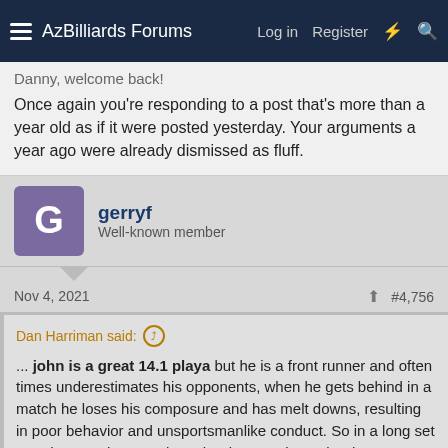AzBilliards Forums | Log in | Register
Danny, welcome back!
Once again you're responding to a post that's more than a year old as if it were posted yesterday. Your arguments a year ago were already dismissed as fluff.
gerryf
Well-known member
Nov 4, 2021
#4,756
Dan Harriman said: ... john is a great 14.1 playa but he is a front runner and often times underestimates his opponents, when he gets behind in a match he loses his composure and has melt downs, resulting in poor behavior and unsportsmanlike conduct. So in a long set - against another top player he does not have the demeanor to be a Champion.
Hi Danny, yes, i can understand why you would think John